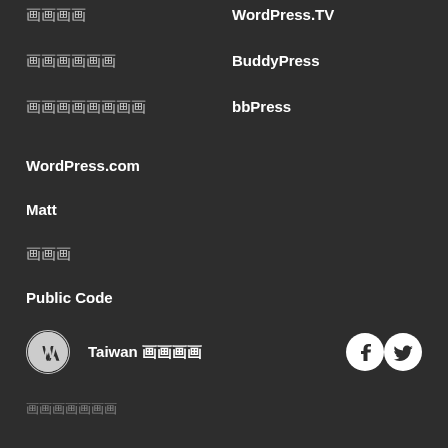画画画画
WordPress.TV
画画画画画画
BuddyPress
画画画画画画画画
bbPress
WordPress.com
Matt
画画画
Public Code
Taiwan 画画画画
画画画画画画画